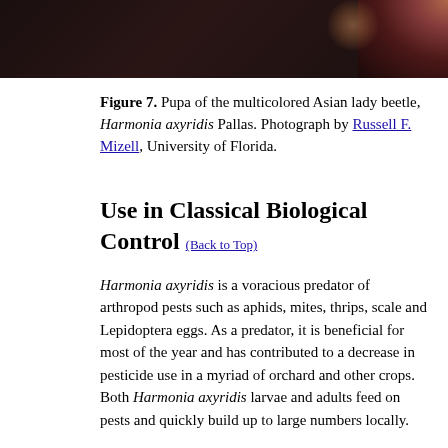[Figure (photo): Dark photograph showing pupa of the multicolored Asian lady beetle, cropped at top of page]
Figure 7. Pupa of the multicolored Asian lady beetle, Harmonia axyridis Pallas. Photograph by Russell F. Mizell, University of Florida.
Use in Classical Biological Control (Back to Top)
Harmonia axyridis is a voracious predator of arthropod pests such as aphids, mites, thrips, scale and Lepidoptera eggs. As a predator, it is beneficial for most of the year and has contributed to a decrease in pesticide use in a myriad of orchard and other crops. Both Harmonia axyridis larvae and adults feed on pests and quickly build up to large numbers locally.
Status as an Overwintering Pest (Back to Top)